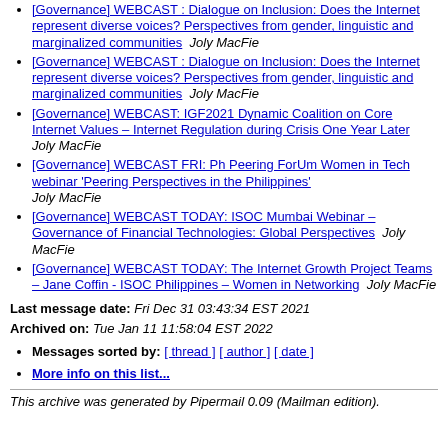[Governance] WEBCAST : Dialogue on Inclusion: Does the Internet represent diverse voices? Perspectives from gender, linguistic and marginalized communities  Joly MacFie
[Governance] WEBCAST : Dialogue on Inclusion: Does the Internet represent diverse voices? Perspectives from gender, linguistic and marginalized communities  Joly MacFie
[Governance] WEBCAST: IGF2021 Dynamic Coalition on Core Internet Values – Internet Regulation during Crisis One Year Later  Joly MacFie
[Governance] WEBCAST FRI: Ph Peering ForUm Women in Tech webinar 'Peering Perspectives in the Philippines'  Joly MacFie
[Governance] WEBCAST TODAY: ISOC Mumbai Webinar – Governance of Financial Technologies: Global Perspectives  Joly MacFie
[Governance] WEBCAST TODAY: The Internet Growth Project Teams – Jane Coffin - ISOC Philippines – Women in Networking  Joly MacFie
Last message date: Fri Dec 31 03:43:34 EST 2021
Archived on: Tue Jan 11 11:58:04 EST 2022
Messages sorted by: [ thread ] [ author ] [ date ]
More info on this list...
This archive was generated by Pipermail 0.09 (Mailman edition).